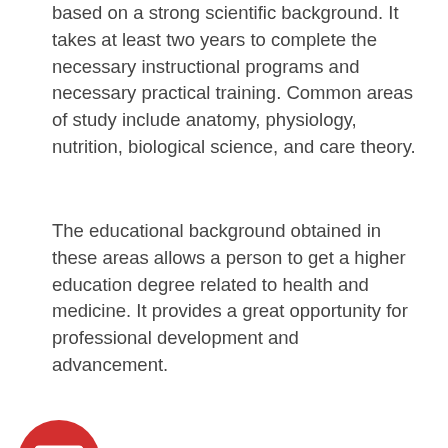based on a strong scientific background. It takes at least two years to complete the necessary instructional programs and necessary practical training. Common areas of study include anatomy, physiology, nutrition, biological science, and care theory.
The educational background obtained in these areas allows a person to get a higher education degree related to health and medicine. It provides a great opportunity for professional development and advancement.
[Figure (illustration): Red circle with a white envelope/mail icon inside]
are many areas where you can practice your place of employment is not limited to the hospitality and old age facilities, private practice is becoming more popular these days.
A lot of people think twice before choosing a health course in college because they are usually more challenging than the rest. It contains a lot of science and principles, calls for more time spent with books, and cause fewer hours of sleep during the night.
But then, you end up making all the sacrifices worth it to the